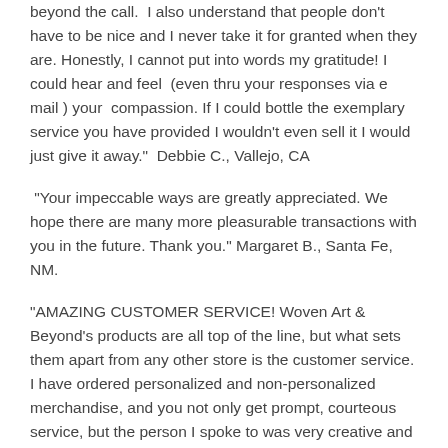beyond the call.  I also understand that people don't have to be nice and I never take it for granted when they are. Honestly, I cannot put into words my gratitude! I could hear and feel  (even thru your responses via e mail ) your  compassion. If I could bottle the exemplary service you have provided I wouldn't even sell it I would just give it away."  Debbie C., Vallejo, CA
"Your impeccable ways are greatly appreciated. We hope there are many more pleasurable transactions with you in the future. Thank you." Margaret B., Santa Fe, NM.
"AMAZING CUSTOMER SERVICE! Woven Art & Beyond's products are all top of the line, but what sets them apart from any other store is the customer service. I have ordered personalized and non-personalized merchandise, and you not only get prompt, courteous service, but the person I spoke to was very creative and helped me with some wonderful ideas I had not thought of." Mary T., Ft. Lauderdale, FL.
"Cary, I just wanted to reach out and say thank you for your help